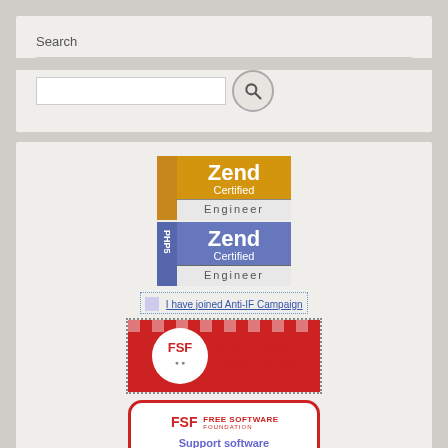Search
[Figure (screenshot): Search input box with a search (magnifying glass) button]
[Figure (logo): Zend Certified Engineer PHP 5.0.0 badge (gold)]
[Figure (logo): Zend Certified Engineer PHP 5 badge (blue/gray)]
[Figure (other): I have joined Anti-IF Campaign link/badge]
[Figure (logo): Free Software Foundation member since June 2004 banner]
[Figure (infographic): FSF Free Software Foundation card: Support software freedom! Get the Free Software Supporter]